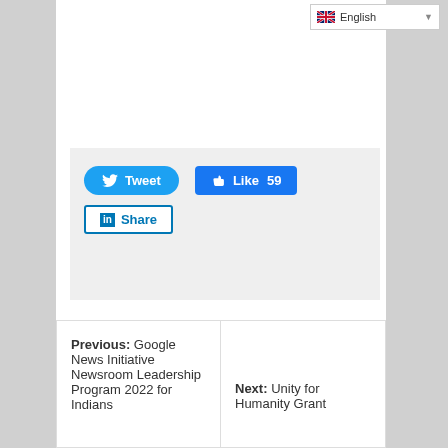[Figure (screenshot): English language selector dropdown in top right corner with UK flag icon]
[Figure (screenshot): Social share buttons: Tweet (Twitter, light blue), Like 59 (Facebook, blue), Share (LinkedIn, white with blue border)]
Previous: Google News Initiative Newsroom Leadership Program 2022 for Indians
Next: Unity for Humanity Grant